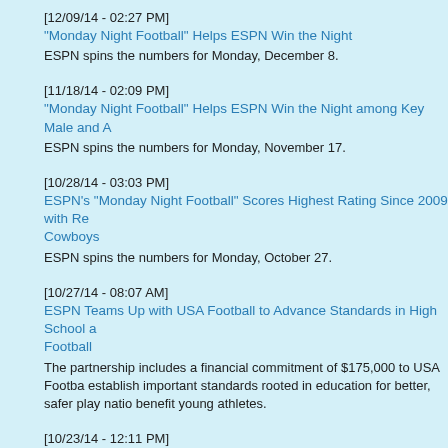[12/09/14 - 02:27 PM]
"Monday Night Football" Helps ESPN Win the Night
ESPN spins the numbers for Monday, December 8.
[11/18/14 - 02:09 PM]
"Monday Night Football" Helps ESPN Win the Night among Key Male and A
ESPN spins the numbers for Monday, November 17.
[10/28/14 - 03:03 PM]
ESPN's "Monday Night Football" Scores Highest Rating Since 2009 with Re Cowboys
ESPN spins the numbers for Monday, October 27.
[10/27/14 - 08:07 AM]
ESPN Teams Up with USA Football to Advance Standards in High School a Football
The partnership includes a financial commitment of $175,000 to USA Footba establish important standards rooted in education for better, safer play natio benefit young athletes.
[10/23/14 - 12:11 PM]
Football Helps ESPN Win the Night 11 Times among all Viewers
ESPN spins the numbers for the season to date.
[10/21/14 - 02:18 PM]
"Monday Night Football" Helps ESPN Win the Night
ESPN spins the numbers for Monday, October 20.